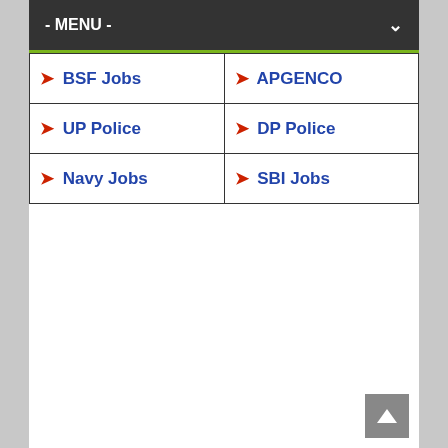- MENU -
| BSF Jobs | APGENCO |
| UP Police | DP Police |
| Navy Jobs | SBI Jobs |